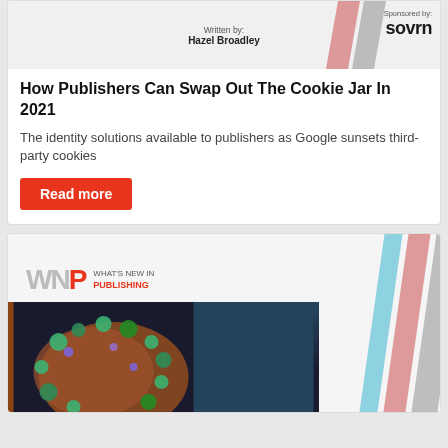[Figure (illustration): Top banner with diagonal stripes in pink and gray, 'Written by: Hazel Broadley' text centered, and 'Sponsored by: sovrn' logo on the right]
How Publishers Can Swap Out The Cookie Jar In 2021
The identity solutions available to publishers as Google sunsets third-party cookies
Read more
[Figure (illustration): WNIP Insight Report cover with WNP logo, diagonal color stripes (blue, pink, gray), and a close-up photo of a coronavirus particle]